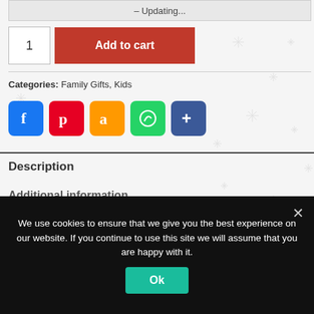– Updating...
1
Add to cart
Categories: Family Gifts, Kids
[Figure (infographic): Social share icons: Facebook, Pinterest, Amazon, WhatsApp, and a plus/more button]
Description
Additional information
Reviews (0)
We use cookies to ensure that we give you the best experience on our website. If you continue to use this site we will assume that you are happy with it.
Ok